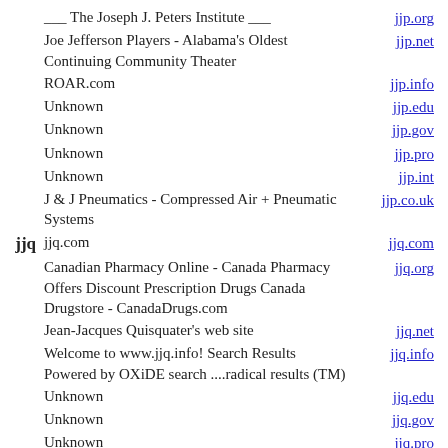___ The Joseph J. Peters Institute ___
Joe Jefferson Players - Alabama's Oldest Continuing Community Theater
ROAR.com
Unknown
Unknown
Unknown
Unknown
J & J Pneumatics - Compressed Air + Pneumatic Systems
jjq.com
Canadian Pharmacy Online - Canada Pharmacy Offers Discount Prescription Drugs Canada Drugstore - CanadaDrugs.com
Jean-Jacques Quisquater's web site
Welcome to www.jjq.info! Search Results Powered by OXiDE search ....radical results (TM)
Unknown
Unknown
Unknown
Unknown